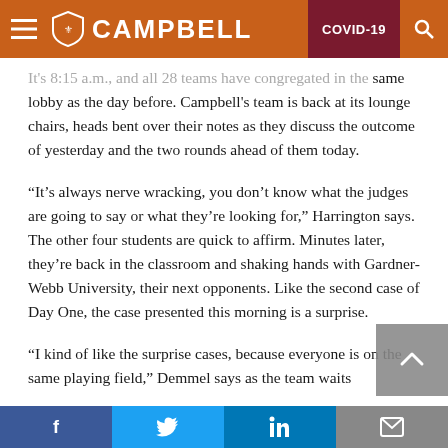CAMPBELL | COVID-19
It's 8:15 a.m., and all 28 teams have congregated in the same lobby as the day before. Campbell's team is back at its lounge chairs, heads bent over their notes as they discuss the outcome of yesterday and the two rounds ahead of them today.
“It’s always nerve wracking, you don’t know what the judges are going to say or what they’re looking for,” Harrington says. The other four students are quick to affirm. Minutes later, they’re back in the classroom and shaking hands with Gardner-Webb University, their next opponents. Like the second case of Day One, the case presented this morning is a surprise.
“I kind of like the surprise cases, because everyone is on the same playing field,” Demmel says as the team waits
Facebook | Twitter | LinkedIn | Email